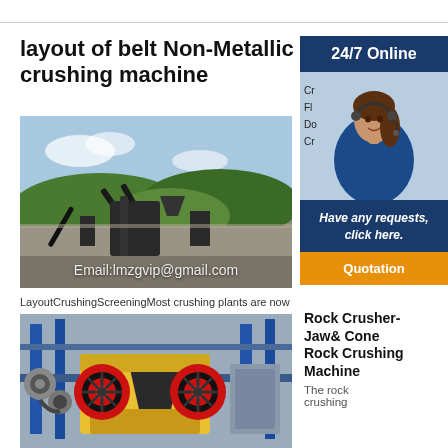layout of belt Non-Metallic Ore crushing machine
[Figure (photo): Overhead view of a large outdoor crushing and screening plant with conveyor belts and machinery against a green hillside. Email:lmzgvip@gmail.com watermark overlaid.]
[Figure (infographic): 24/7 Online customer service panel with photo of woman wearing headset, 'Have any requests, click here.' text, and Quotation button. Partial text: Cr, Fl, Do, Cr]
LayoutCrushingScreeningMost crushing plants are now
[Figure (photo): Yellow jaw crusher machine with red flywheels in an industrial facility with blue equipment in background.]
Rock Crusher- Jaw& Cone Rock Crushing Machine The rock crushing
Email:lmzgvip@gmail.com